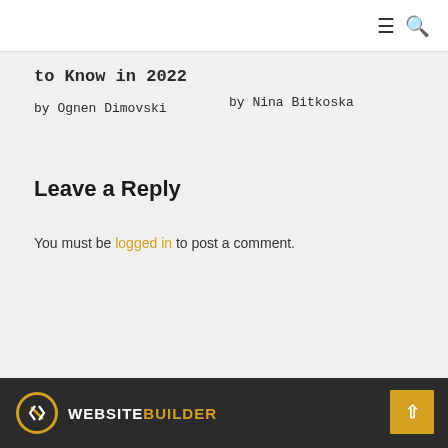≡ 🔍
to Know in 2022
by Nina Bitkoska
by Ognen Dimovski
Leave a Reply
You must be logged in to post a comment.
WEBSITEBUILDER